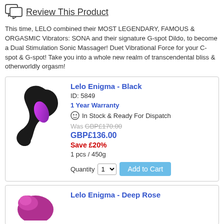Review This Product
This time, LELO combined their MOST LEGENDARY, FAMOUS & ORGASMIC Vibrators: SONA and their signature G-spot Dildo, to become a Dual Stimulation Sonic Massager! Duet Vibrational Force for your C-spot & G-spot! Take you into a whole new realm of transcendental bliss & otherworldly orgasm!
[Figure (photo): Lelo Enigma Black product photo - curved dual stimulation vibrator in black with pink/purple accent]
Lelo Enigma - Black
ID: 5849
1 Year Warranty
In Stock & Ready For Dispatch
Was GBP£170.00
GBP£136.00
Save £20%
1 pcs / 450g
Quantity 1 Add to Cart
[Figure (photo): Lelo Enigma Deep Rose product photo - partial view of curved vibrator in deep rose/purple color]
Lelo Enigma - Deep Rose